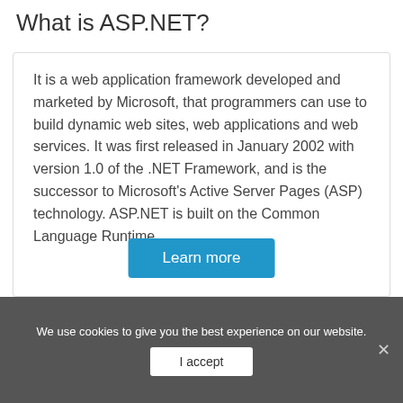What is ASP.NET?
It is a web application framework developed and marketed by Microsoft, that programmers can use to build dynamic web sites, web applications and web services. It was first released in January 2002 with version 1.0 of the .NET Framework, and is the successor to Microsoft's Active Server Pages (ASP) technology. ASP.NET is built on the Common Language Runtime, …
Learn more
We use cookies to give you the best experience on our website.
I accept